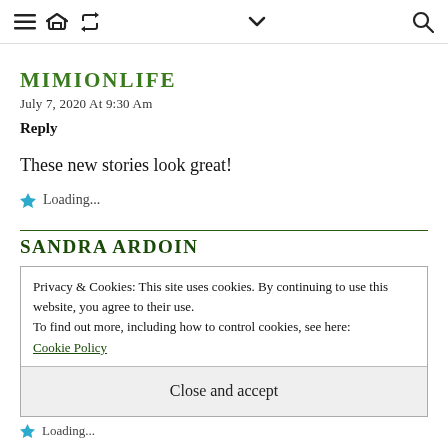Navigation header with menu, retweet, dropdown, and search icons
MIMIONLIFE
July 7, 2020 At 9:30 Am
Reply
These new stories look great!
★ Loading...
SANDRA ARDOIN
Privacy & Cookies: This site uses cookies. By continuing to use this website, you agree to their use. To find out more, including how to control cookies, see here: Cookie Policy
Close and accept
★ Loading...